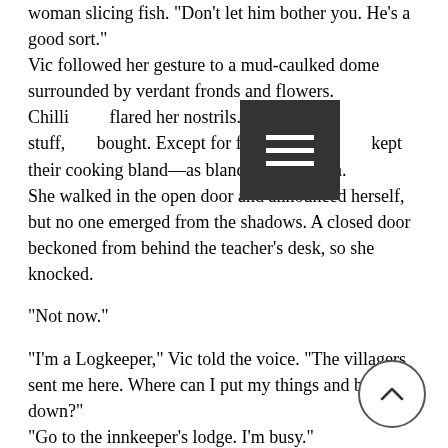woman slicing fish. "Don't let him bother you. He's a good sort."
Vic followed her gesture to a mud-caulked dome surrounded by verdant fronds and flowers. Chilli [obscured] flared her nostrils. Strong stuff, [obscured] bought. Except for festivals, most [obscured] kept their cooking bland—as bland as the tundra.
She walked in the open door and announced herself, but no one emerged from the shadows. A closed door beckoned from behind the teacher's desk, so she knocked.

“Not now.”

“I’m a Logkeeper,” Vic told the voice. “The villagers sent me here. Where can I put my things and bed down?”
“Go to the innkeeper’s lodge. I’m busy.”

Chagrined, Vic wished she were old...
Since she’d left Ourtown, she had more